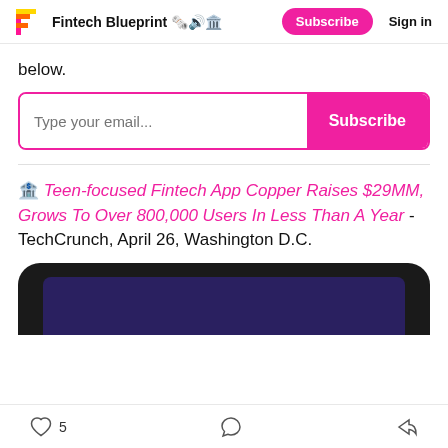Fintech Blueprint 🗞️🔊🏛️  Subscribe  Sign in
below.
[Figure (other): Email subscription form with pink border, placeholder text 'Type your email...' and a pink 'Subscribe' button on the right]
🏦 Teen-focused Fintech App Copper Raises $29MM, Grows To Over 800,000 Users In Less Than A Year - TechCrunch, April 26, Washington D.C.
[Figure (photo): Bottom portion of a dark smartphone showing the top edge of a screen with a purple/dark blue background]
♡ 5  💬  ➦